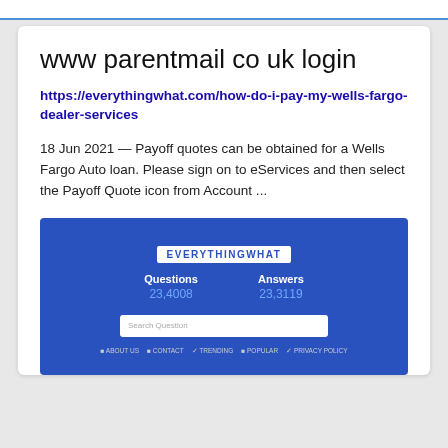www parentmail co uk login
https://everythingwhat.com/how-do-i-pay-my-wells-fargo-dealer-services
18 Jun 2021 — Payoff quotes can be obtained for a Wells Fargo Auto loan. Please sign on to eServices and then select the Payoff Quote icon from Account ...
[Figure (screenshot): Screenshot of the EverythingWhat website showing a blue background with the site logo, Questions (23,4008) and Answers (23,3119) stats, a search box, and footer navigation links including ABOUT US, CONTACT, TRENDING, POPULAR, PRIVACY POLICY.]